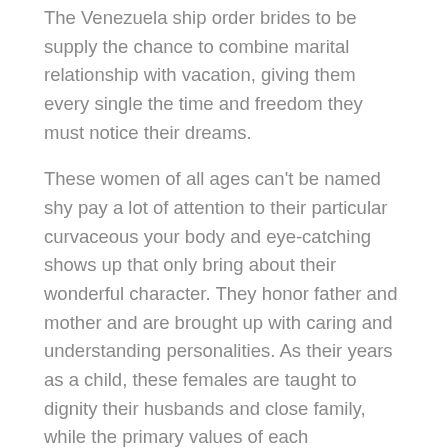The Venezuela ship order brides to be supply the chance to combine marital relationship with vacation, giving them every single the time and freedom they must notice their dreams.
These women of all ages can't be named shy pay a lot of attention to their particular curvaceous your body and eye-catching shows up that only bring about their wonderful character. They honor father and mother and are brought up with caring and understanding personalities. As their years as a child, these females are taught to dignity their husbands and close family, while the primary values of each Venezuelan household are nearness and unity. People normally profit from the online world to the maximum and use it even to find foreign women of all ages on the lookout for